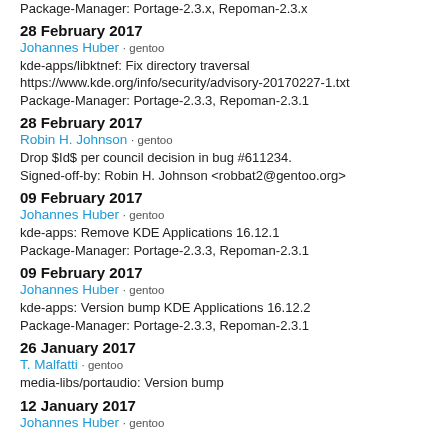Package-Manager: Portage-2.3.x, Repoman-2.3.x
28 February 2017
Johannes Huber · gentoo
kde-apps/libktnef: Fix directory traversal
https://www.kde.org/info/security/advisory-20170227-1.txt
Package-Manager: Portage-2.3.3, Repoman-2.3.1
28 February 2017
Robin H. Johnson · gentoo
Drop $Id$ per council decision in bug #611234.
Signed-off-by: Robin H. Johnson <robbat2@gentoo.org>
09 February 2017
Johannes Huber · gentoo
kde-apps: Remove KDE Applications 16.12.1
Package-Manager: Portage-2.3.3, Repoman-2.3.1
09 February 2017
Johannes Huber · gentoo
kde-apps: Version bump KDE Applications 16.12.2
Package-Manager: Portage-2.3.3, Repoman-2.3.1
26 January 2017
T. Malfatti · gentoo
media-libs/portaudio: Version bump
12 January 2017
Johannes Huber · gentoo